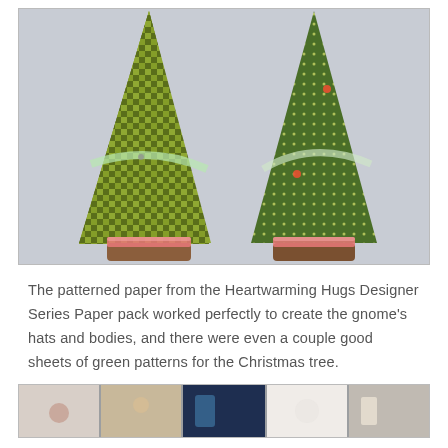[Figure (photo): Two cone-shaped Christmas trees covered in patterned green paper — one with a houndstooth/check pattern (left) and one with a polka-dot pattern (right). Both have brown wooden bases with a pink/red glittery band. A sheer ribbon wraps around each tree. Background is light grey.]
The patterned paper from the Heartwarming Hugs Designer Series Paper pack worked perfectly to create the gnome's hats and bodies, and there were even a couple good sheets of green patterns for the Christmas tree.
[Figure (photo): A horizontal strip of thumbnail images showing various crafting scenes, partially visible at the bottom of the page.]